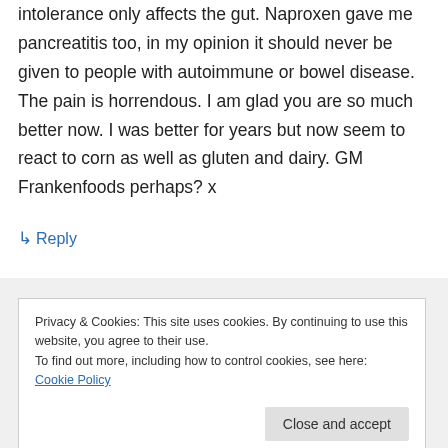intolerance only affects the gut. Naproxen gave me pancreatitis too, in my opinion it should never be given to people with autoimmune or bowel disease. The pain is horrendous. I am glad you are so much better now. I was better for years but now seem to react to corn as well as gluten and dairy. GM Frankenfoods perhaps? x
↳ Reply
Privacy & Cookies: This site uses cookies. By continuing to use this website, you agree to their use.
To find out more, including how to control cookies, see here: Cookie Policy
Close and accept